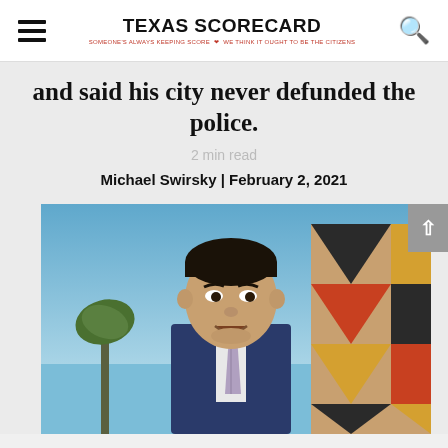TEXAS SCORECARD — SOMEONE'S ALWAYS KEEPING SCORE — WE THINK IT OUGHT TO BE THE CITIZENS
and said his city never defunded the police.
2 min read
Michael Swirsky | February 2, 2021
[Figure (photo): Photo of a man in a suit outdoors with a blue sky and a colorful mural/building in the background]